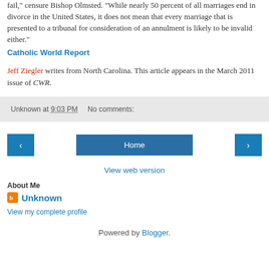fail," censure Bishop Olmsted. "While nearly 50 percent of all marriages end in divorce in the United States, it does not mean that every marriage that is presented to a tribunal for consideration of an annulment is likely to be invalid either." Catholic World Report
Jeff Ziegler writes from North Carolina. This article appears in the March 2011 issue of CWR.
Unknown at 9:03 PM   No comments:
‹   Home   ›
View web version
About Me
Unknown
View my complete profile
Powered by Blogger.